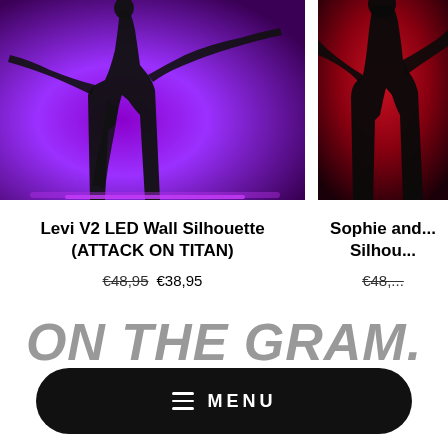[Figure (photo): Product image: Levi V2 LED Wall Silhouette (Attack on Titan) - dark silhouette figure against purple/violet LED background]
Levi V2 LED Wall Silhouette (ATTACK ON TITAN)
€48,95  €38,95
[Figure (photo): Product image: Sophie and... Silhouette - dark silhouette against red LED background (partially cropped)]
Sophie and... Silhou...
€48,...
ON THE GRAM.
Tag @izulights to be featured!
MENU